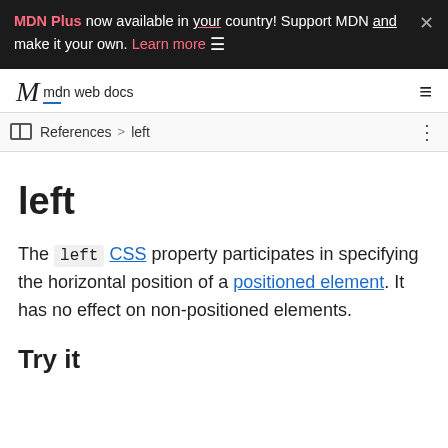MDN Plus now available in your country! Support MDN and make it your own. Learn more ☰ ×
mdn web docs
References > left
left
The left CSS property participates in specifying the horizontal position of a positioned element. It has no effect on non-positioned elements.
Try it